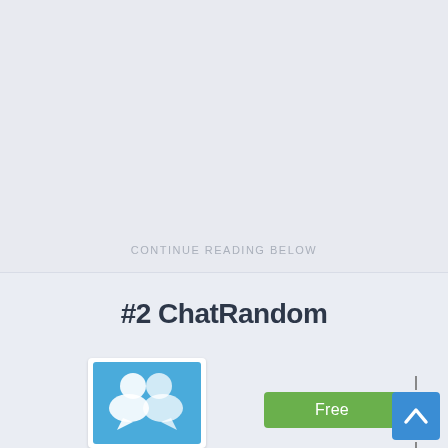CONTINUE READING BELOW
#2 ChatRandom
[Figure (logo): ChatRandom app icon: blue background with two overlapping speech bubble / user silhouette icons in white]
[Figure (other): Green 'Free' download button]
[Figure (other): Scroll up button (blue square with white upward chevron) with up and down scroll arrows]